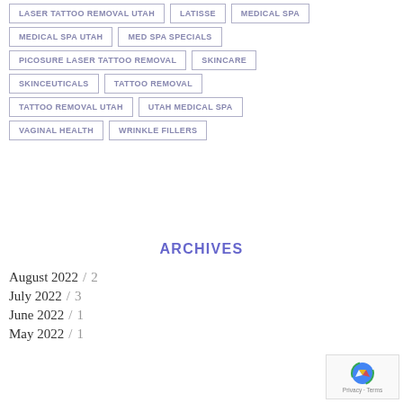LASER TATTOO REMOVAL UTAH
LATISSE
MEDICAL SPA
MEDICAL SPA UTAH
MED SPA SPECIALS
PICOSURE LASER TATTOO REMOVAL
SKINCARE
SKINCEUTICALS
TATTOO REMOVAL
TATTOO REMOVAL UTAH
UTAH MEDICAL SPA
VAGINAL HEALTH
WRINKLE FILLERS
ARCHIVES
August 2022 / 2
July 2022 / 3
June 2022 / 1
May 2022 / 1